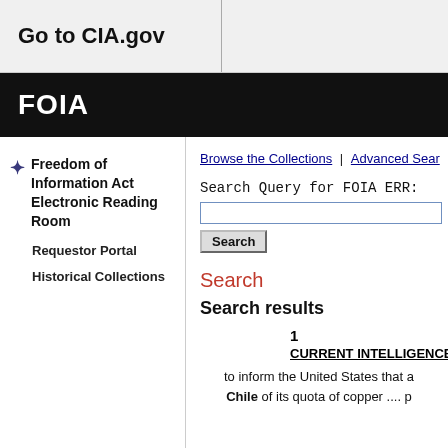Go to CIA.gov
FOIA
Freedom of Information Act Electronic Reading Room
Requestor Portal
Historical Collections
Browse the Collections | Advanced Search
Search Query for FOIA ERR:
Search
Search
Search results
1
CURRENT INTELLIGENCE BULLETIN- 195
to inform the United States that a Chile of its quota of copper .... p